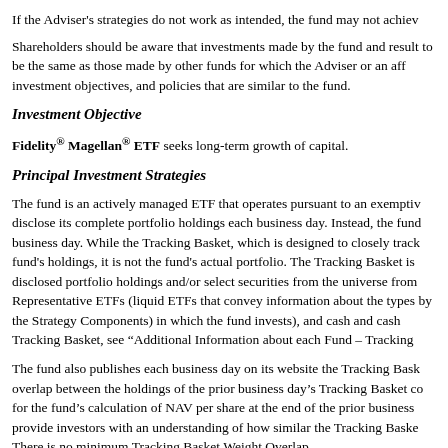If the Adviser's strategies do not work as intended, the fund may not achiev
Shareholders should be aware that investments made by the fund and result to be the same as those made by other funds for which the Adviser or an aff investment objectives, and policies that are similar to the fund.
Investment Objective
Fidelity® Magellan® ETF seeks long-term growth of capital.
Principal Investment Strategies
The fund is an actively managed ETF that operates pursuant to an exemptive disclose its complete portfolio holdings each business day. Instead, the fund business day. While the Tracking Basket, which is designed to closely track fund's holdings, it is not the fund's actual portfolio. The Tracking Basket is disclosed portfolio holdings and/or select securities from the universe from Representative ETFs (liquid ETFs that convey information about the types by the Strategy Components) in which the fund invests), and cash and cash Tracking Basket, see "Additional Information about each Fund – Tracking
The fund also publishes each business day on its website the Tracking Bask overlap between the holdings of the prior business day's Tracking Basket co for the fund's calculation of NAV per share at the end of the prior business provide investors with an understanding of how similar the Tracking Baske There is no minimum Tracking Basket Weight Overlap.